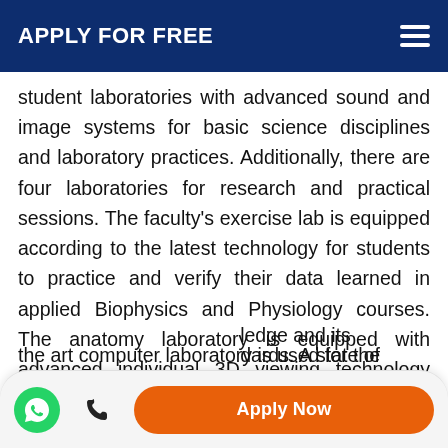APPLY FOR FREE
student laboratories with advanced sound and image systems for basic science disciplines and laboratory practices. Additionally, there are four laboratories for research and practical sessions. The faculty's exercise lab is equipped according to the latest technology for students to practice and verify their data learned in applied Biophysics and Physiology courses. The anatomy laboratory is equipped with advanced individual 3D viewing technology supported with cadaveric material, dissection tables and models identical to each human organ, enabling students to [kn]ledge and its [stan]dards. A state of the art computer laboratory is used for the application